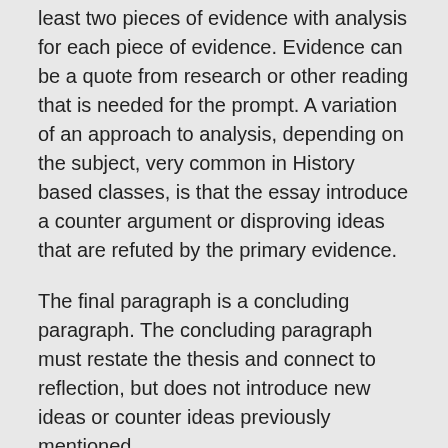least two pieces of evidence with analysis for each piece of evidence. Evidence can be a quote from research or other reading that is needed for the prompt. A variation of an approach to analysis, depending on the subject, very common in History based classes, is that the essay introduce a counter argument or disproving ideas that are refuted by the primary evidence.
The final paragraph is a concluding paragraph. The concluding paragraph must restate the thesis and connect to reflection, but does not introduce new ideas or counter ideas previously mentioned.
Modification